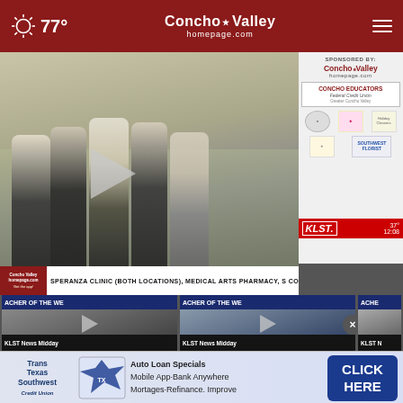77° | Concho Valley homepage.com
[Figure (screenshot): Group photo of five women standing together in what appears to be a school or clinic setting. A large play button is overlaid on the left side. On the right side is a sponsor panel showing logos for Concho Valley homepage.com, Concho Educators Federal Credit Union, Holiday Cleaners, Southwest Florist, and KLST news bug with time 37° 12:08. Bottom ticker reads: SPERANZA CLINIC (BOTH LOCATIONS), MEDICAL ARTS PHARMACY, S COMMUNITY]
[Figure (screenshot): Thumbnail: Teacher of the Week video thumbnail showing group of women, KLST News Midday label]
[Figure (screenshot): Thumbnail: Teacher of the Week video thumbnail showing people with star backdrop, KLST News Midday label]
[Figure (screenshot): Thumbnail: partial Teacher of the Week video thumbnail, KLST News label]
[Figure (screenshot): Advertisement banner for Trans Texas Southwest Credit Union: Auto Loan Specials, Mobile App-Bank Anywhere, Mortages-Refinance. Improve. CLICK HERE button]